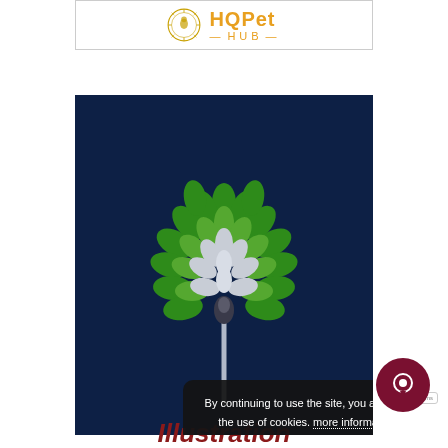[Figure (logo): HQPet Hub logo with decorative golden emblem/seal and orange text reading 'HQPet' and '—HUB—']
[Figure (illustration): Stylized tree with green and grey leaf-shaped petals arranged in a circular pattern on a dark navy blue background, with a cookie consent overlay popup reading 'By continuing to use the site, you agree to the use of cookies. more information' and an Accept button]
Illustration